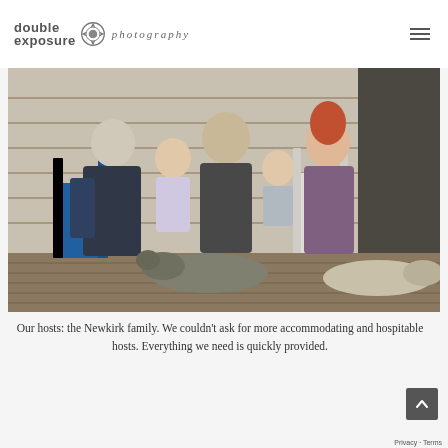[Figure (logo): Double Exposure Photography logo with stylized circular lens/shutter icon and text 'double exposure photography']
[Figure (photo): Family portrait of the Newkirk family on a wooden porch of a rustic building. An older woman on the left, a young girl, a bearded man in the center holding a baby, and a woman with red hair on the right. Two dogs are lying on the porch in front of them. Chairs include a blue chair on the left and a white chair on the right.]
Our hosts: the Newkirk family. We couldn’t ask for more accommodating and hospitable hosts. Everything we need is quickly provided.